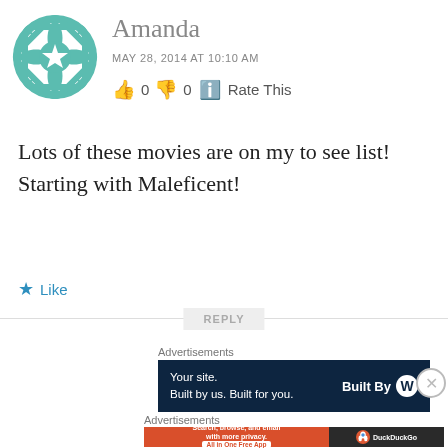[Figure (logo): Teal geometric star/cross WordPress avatar icon]
Amanda
MAY 28, 2014 AT 10:10 AM
👍 0 👎 0 ℹ️ Rate This
Lots of these movies are on my to see list! Starting with Maleficent!
★ Like
REPLY
Advertisements
[Figure (infographic): Dark navy ad banner: 'Your site. Built by us. Built for you.' with WordPress Built By logo]
Advertisements
[Figure (infographic): DuckDuckGo ad banner: 'Search, browse, and email with more privacy. All in One Free App' with DuckDuckGo logo]